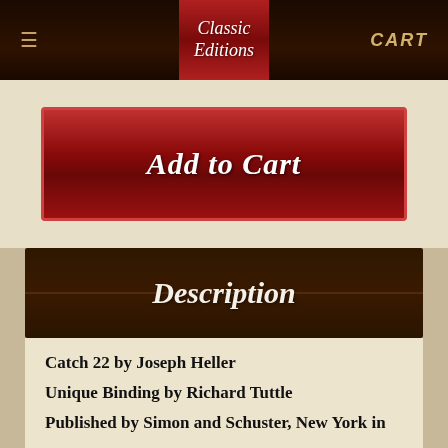Classic Editions | CART
[Figure (screenshot): Red 'Add to Cart' button on cream background]
Description
Catch 22 by Joseph Heller

Unique Binding by Richard Tuttle

Published by Simon and Schuster, New York in